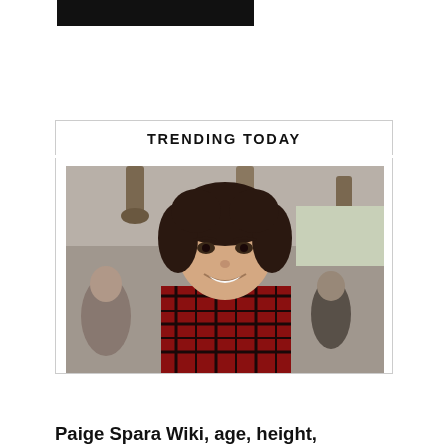TRENDING TODAY
[Figure (photo): A smiling woman with dark curly hair wearing a red and black plaid/checkered blazer over a dark top, standing in what appears to be a restaurant or cafe setting with blurred people in the background and pendant lights overhead.]
Paige Spara Wiki, age, height,